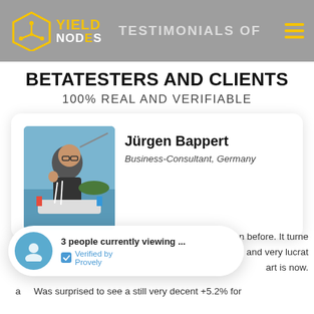TESTIMONIALS OF
BETATESTERS AND CLIENTS
100% REAL AND VERIFIABLE
[Figure (photo): Photo of Jürgen Bappert, a man holding a fishing rod on a boat on a lake]
Jürgen Bappert
Business-Consultant, Germany
3 people currently viewing ...
Verified by Provely
t ... before. It turne ... and very lucrat ... art is now.
a Was surprised to see a still very decent +5.2% for